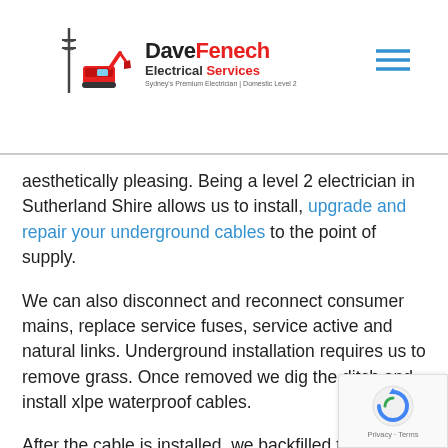Dave Fenech Electrical Services — Sydney's Premium Electrician | Domestic Level 2
aesthetically pleasing. Being a level 2 electrician in Sutherland Shire allows us to install, upgrade and repair your underground cables to the point of supply.
We can also disconnect and reconnect consumer mains, replace service fuses, service active and natural links. Underground installation requires us to remove grass. Once removed we dig the ditch and install xlpe waterproof cables.
After the cable is installed, we backfilled the ditch halfway and lay a marking tape. This tape is a safety precaution. If someone were to dig in the area and hit the tape,